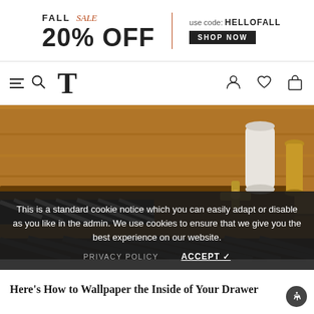[Figure (screenshot): Website banner ad: FALL SALE 20% OFF with code HELLOFALL and SHOP NOW button]
[Figure (screenshot): Navigation bar with hamburger+search icons, large T logo, and user/heart/bag icons]
[Figure (photo): Close-up photo of a wooden drawer partially open with black and white patterned liner, gold cross-shaped knob, white ceramic canister and gold vase in background]
This is a standard cookie notice which you can easily adapt or disable as you like in the admin. We use cookies to ensure that we give you the best experience on our website.
PRIVACY POLICY   ACCEPT ✓
Here's How to Wallpaper the Inside of Your Drawer